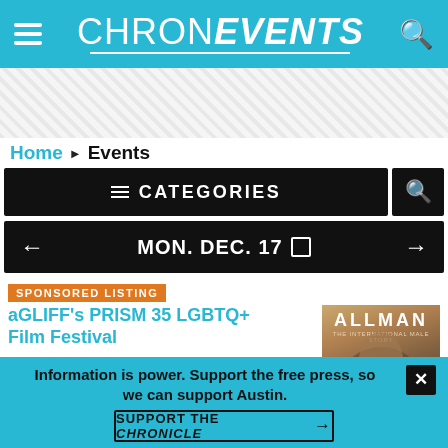CHRON EVENTS
[Figure (other): Advertisement banner with diagonal hatching pattern]
Home ▶ Events
☰ CATEGORIES
← MON. DEC. 17 □ →
SPONSORED LISTING
aGLIFF’s PRISM 35 LGBTQ+ Film Festival
aGLIFF’s PRISM 35 LGBTQ+ Film Festival offers over 85 films, live filmmaker
[Figure (photo): ALLMAN - The International Male Story promotional image showing a figure in silver/metallic outfit]
Information is power. Support the free press, so we can support Austin.
SUPPORT THE CHRONICLE →